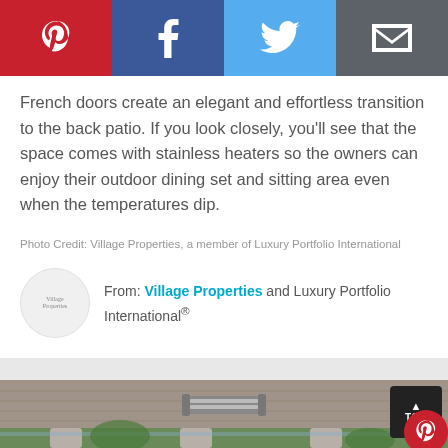[Figure (infographic): Social sharing bar with Pinterest (red), Facebook (blue), Twitter (light blue), and Email (gray) buttons with white icons]
French doors create an elegant and effortless transition to the back patio. If you look closely, you'll see that the space comes with stainless heaters so the owners can enjoy their outdoor dining set and sitting area even when the temperatures dip.
Photo Credit: Village Properties, a member of Luxury Portfolio International
From: Village Properties and Luxury Portfolio International®
[Figure (photo): Outdoor patio ceiling with stainless steel heater fixture mounted to ceiling, columns visible at bottom, trees in background]